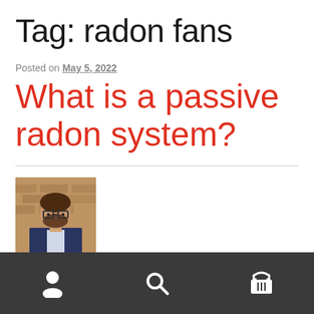Tag: radon fans
Posted on May 5, 2022
What is a passive radon system?
[Figure (photo): Author headshot photo of a man with beard and glasses wearing a dark suit jacket]
Written by
Navigation bar with user, search, and cart icons